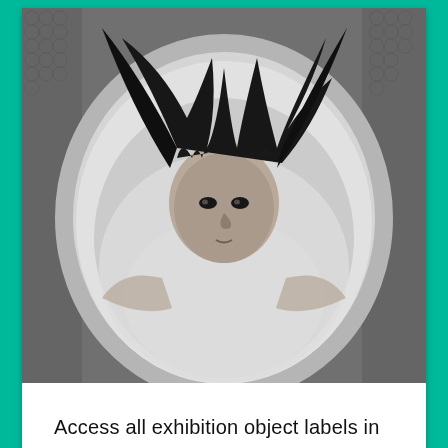[Figure (photo): Black and white overhead photograph of a young woman with dark wet hair lying in a white bathtub, looking up at the camera. The surrounding floor appears to have small hexagonal tiles.]
Access all exhibition object labels in large print format for ease of reading as you explore the galleries.
DOWNLOAD LABELS ⬇